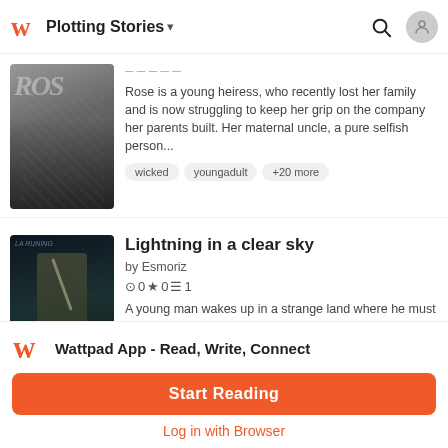Plotting Stories
[Figure (screenshot): Book cover for Rose - dark moody photo with shadowy figure on stairs]
Rose is a young heiress, who recently lost her family and is now struggling to keep her grip on the company her parents built. Her maternal uncle, a pure selfish person...
wicked   youngadult   +20 more
Lightning in a clear sky
by Esmoriz
⊙0★0☰1
[Figure (screenshot): Book cover for Lightning in a clear sky - dark fantasy warrior figure]
A young man wakes up in a strange land where he must help the people of a small village against different obstacles and raise their army to be as great as the ones of an...
warfare   military   +6 more
Wattpad App - Read, Write, Connect
Start Reading
Log in with Browser